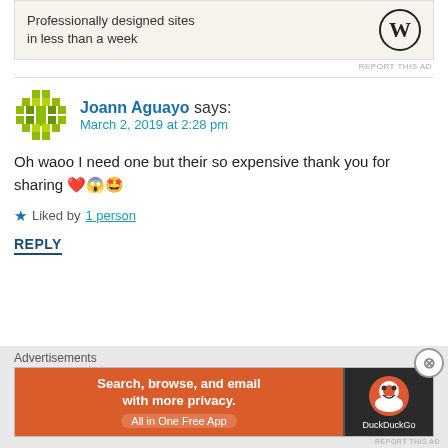[Figure (other): WordPress advertisement banner: 'Professionally designed sites in less than a week' with WordPress logo]
REPORT THIS AD
Joann Aguayo says:
March 2, 2019 at 2:28 pm
Oh waoo I need one but their so expensive thank you for sharing ❤️😱🤩
★ Liked by 1 person
REPLY
Advertisements
[Figure (other): DuckDuckGo advertisement: 'Search, browse, and email with more privacy. All in One Free App']